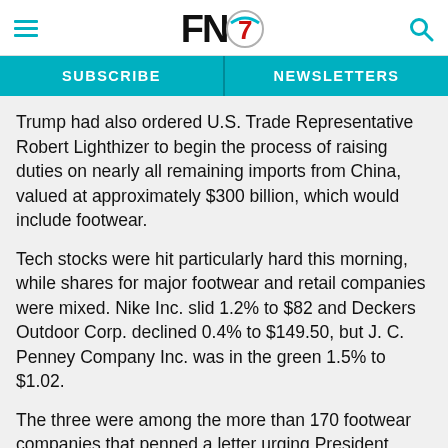FN7 — SUBSCRIBE | NEWSLETTERS
Trump had also ordered U.S. Trade Representative Robert Lighthizer to begin the process of raising duties on nearly all remaining imports from China, valued at approximately $300 billion, which would include footwear.
Tech stocks were hit particularly hard this morning, while shares for major footwear and retail companies were mixed. Nike Inc. slid 1.2% to $82 and Deckers Outdoor Corp. declined 0.4% to $149.50, but J. C. Penney Company Inc. was in the green 1.5% to $1.02.
The three were among the more than 170 footwear companies that penned a letter urging President Donald Trump to remove footwear from his latest tranche of tariffs. According to the Footwear